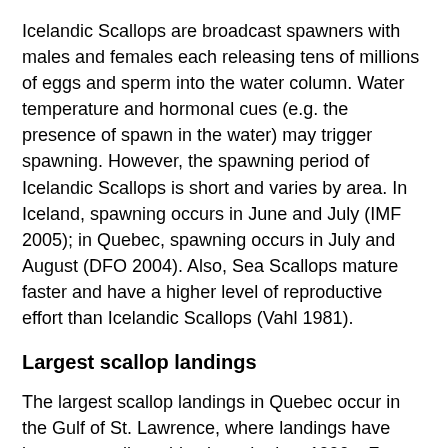Icelandic Scallops are broadcast spawners with males and females each releasing tens of millions of eggs and sperm into the water column. Water temperature and hormonal cues (e.g. the presence of spawn in the water) may trigger spawning. However, the spawning period of Icelandic Scallops is short and varies by area. In Iceland, spawning occurs in June and July (IMF 2005); in Quebec, spawning occurs in July and August (DFO 2004). Also, Sea Scallops mature faster and have a higher level of reproductive effort than Icelandic Scallops (Vahl 1981).
Largest scallop landings
The largest scallop landings in Quebec occur in the Gulf of St. Lawrence, where landings have been generally stable since the late 1990s. From 1984 to 1990, Icelandic Scallop landings increased dramatically. Annual landings have decreased some since then, but it is unclear if this trend is due to the introduction of individual quotas in the Middle North Shore fishery or to declines in population abundance (DFO 2004). The